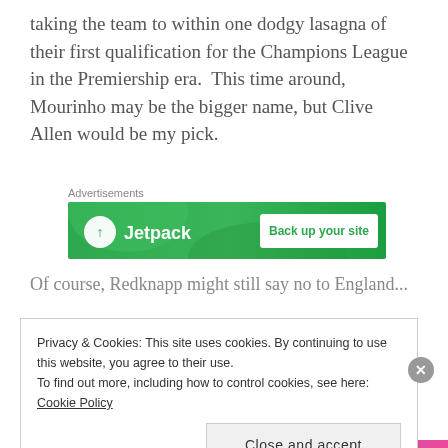taking the team to within one dodgy lasagna of their first qualification for the Champions League in the Premiership era.  This time around, Mourinho may be the bigger name, but Clive Allen would be my pick.
Advertisements
[Figure (screenshot): Jetpack advertisement banner with green background showing logo and 'Back up your site' text]
Of course, Redknapp might still say no to England...
Privacy & Cookies: This site uses cookies. By continuing to use this website, you agree to their use.
To find out more, including how to control cookies, see here: Cookie Policy
Close and accept